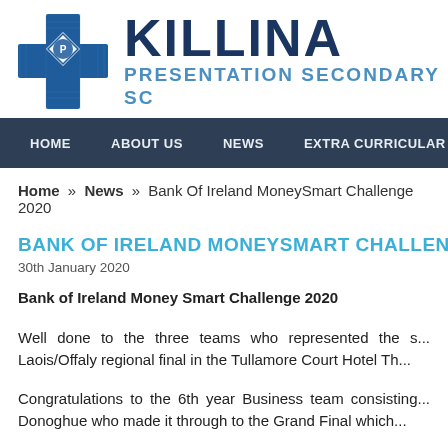[Figure (logo): Killina Presentation Secondary School logo: blue cross with diamond and emblem, alongside school name 'KILLINA' in dark navy and 'PRESENTATION SECONDARY SC' in blue]
HOME   ABOUT US   NEWS   EXTRA CURRICULAR   CURRI
Home » News » Bank Of Ireland MoneySmart Challenge 2020
BANK OF IRELAND MONEYSMART CHALLENGE 2...
30th January 2020
Bank of Ireland Money Smart Challenge 2020
Well done to the three teams who represented the s... Laois/Offaly regional final in the Tullamore Court Hotel Th...
Congratulations to the 6th year Business team consisting... Donoghue who made it through to the Grand Final which...